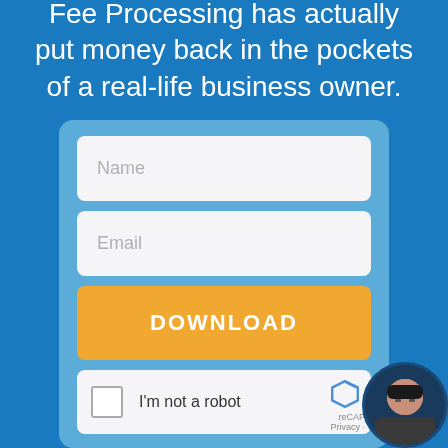Fee Processing has actually put money back in the pockets of a real-life business owner.
[Figure (screenshot): Web form with Name input field, Email input field, orange DOWNLOAD button, and reCAPTCHA checkbox widget]
[Figure (photo): Circular avatar photo of a woman with dark hair and glasses, smiling]